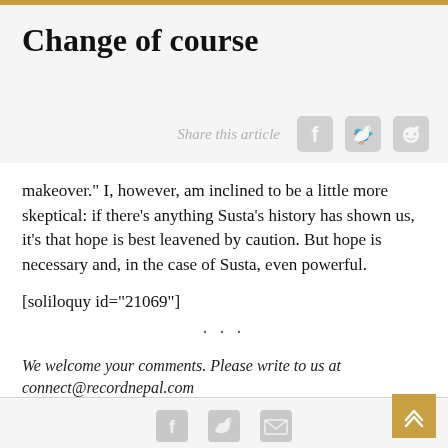Change of course
Share this article
makeover." I, however, am inclined to be a little more skeptical: if there's anything Susta's history has shown us, it's that hope is best leavened by caution. But hope is necessary and, in the case of Susta, even powerful.
[soliloquy id="21069"]
···
We welcome your comments. Please write to us at connect@recordnepal.com